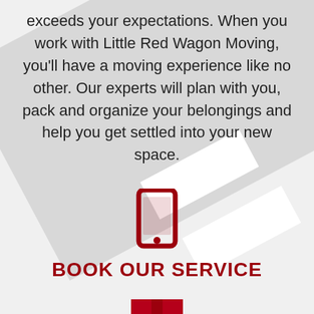exceeds your expectations. When you work with Little Red Wagon Moving, you'll have a moving experience like no other. Our experts will plan with you, pack and organize your belongings and help you get settled into your new space.
[Figure (illustration): Dark red smartphone icon]
BOOK OUR SERVICE
[Figure (illustration): Dark red open cardboard box icon]